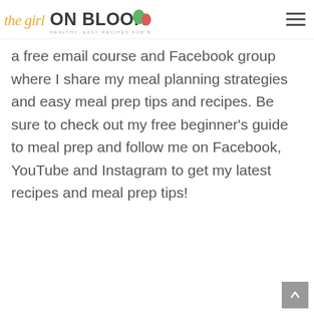the girl ON BLOOR — HEALTHY, EASY RECIPES FOR BUSY PEOPLE!
a free email course and Facebook group where I share my meal planning strategies and easy meal prep tips and recipes. Be sure to check out my free beginner's guide to meal prep and follow me on Facebook, YouTube and Instagram to get my latest recipes and meal prep tips!